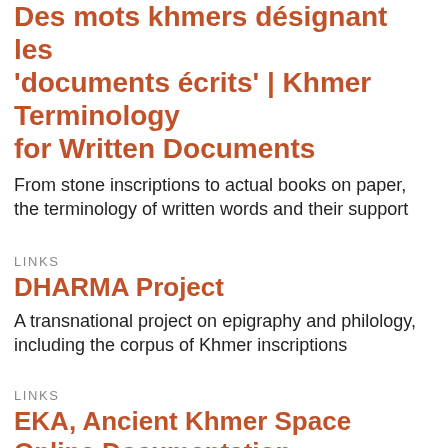Des mots khmers désignant les 'documents écrits' | Khmer Terminology for Written Documents
From stone inscriptions to actual books on paper, the terminology of written words and their support
LINKS
DHARMA Project
A transnational project on epigraphy and philology, including the corpus of Khmer inscriptions
LINKS
EKA, Ancient Khmer Space Online Documentation
'Khmer heritage research and documentation: Building a digital corpus of archaeological and epigraphic data'.